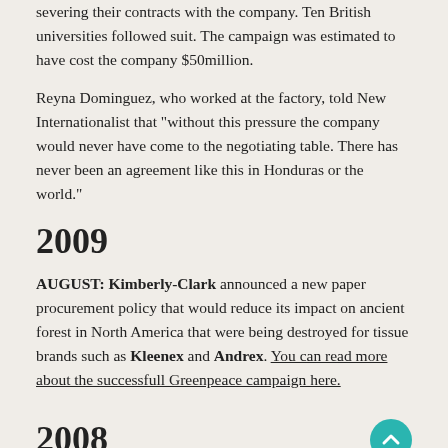severing their contracts with the company. Ten British universities followed suit. The campaign was estimated to have cost the company $50million.
Reyna Dominguez, who worked at the factory, told New Internationalist that "without this pressure the company would never have come to the negotiating table. There has never been an agreement like this in Honduras or the world."
2009
AUGUST: Kimberly-Clark announced a new paper procurement policy that would reduce its impact on ancient forest in North America that were being destroyed for tissue brands such as Kleenex and Andrex. You can read more about the successfull Greenpeace campaign here.
2008